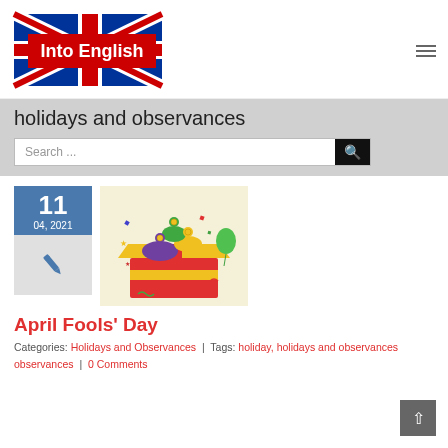[Figure (logo): Into English logo with UK Union Jack flag and red banner with 'Into English' text]
holidays and observances
Search ...
[Figure (illustration): Colorful cartoon jester hats and party items popping out of a gift box with confetti and stars on a cream background]
April Fools' Day
Categories: Holidays and Observances | Tags: holiday, holidays and observances | 0 Comments